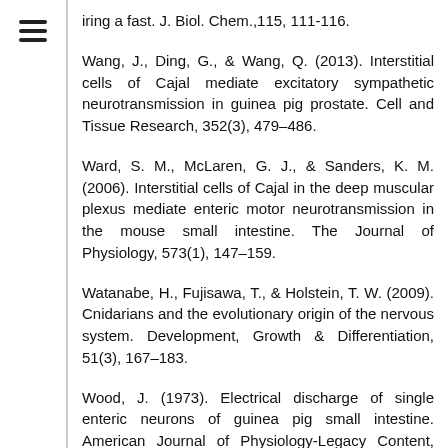iring a fast. J. Biol. Chem.,115, 111-116.
Wang, J., Ding, G., & Wang, Q. (2013). Interstitial cells of Cajal mediate excitatory sympathetic neurotransmission in guinea pig prostate. Cell and Tissue Research, 352(3), 479–486.
Ward, S. M., McLaren, G. J., & Sanders, K. M. (2006). Interstitial cells of Cajal in the deep muscular plexus mediate enteric motor neurotransmission in the mouse small intestine. The Journal of Physiology, 573(1), 147–159.
Watanabe, H., Fujisawa, T., & Holstein, T. W. (2009). Cnidarians and the evolutionary origin of the nervous system. Development, Growth & Differentiation, 51(3), 167–183.
Wood, J. (1973). Electrical discharge of single enteric neurons of guinea pig small intestine. American Journal of Physiology-Legacy Content, 225(5), 1107–1113.
Wood, J. D., & Mayer, C. J. (1978). Intracellular study of electrical activity of Auerbach's plexus in guinea pig small intestine.